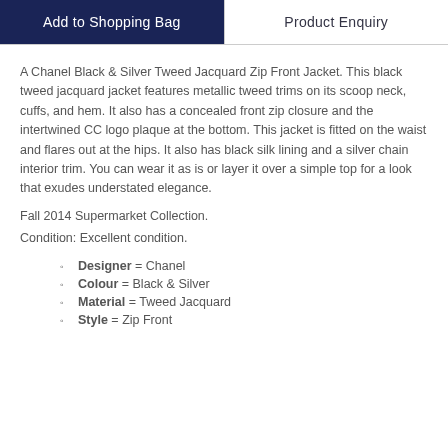Add to Shopping Bag
Product Enquiry
A Chanel Black & Silver Tweed Jacquard Zip Front Jacket. This black tweed jacquard jacket features metallic tweed trims on its scoop neck, cuffs, and hem. It also has a concealed front zip closure and the intertwined CC logo plaque at the bottom. This jacket is fitted on the waist and flares out at the hips. It also has black silk lining and a silver chain interior trim. You can wear it as is or layer it over a simple top for a look that exudes understated elegance.
Fall 2014 Supermarket Collection.
Condition: Excellent condition.
Designer = Chanel
Colour = Black & Silver
Material = Tweed Jacquard
Style = Zip Front